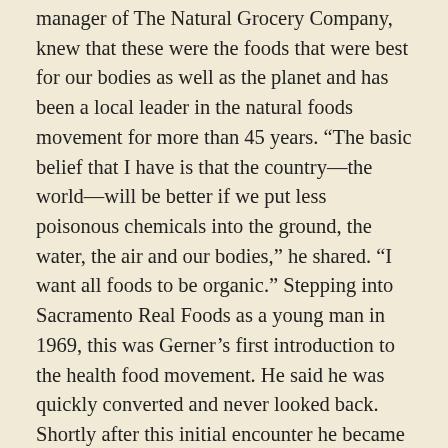manager of The Natural Grocery Company, knew that these were the foods that were best for our bodies as well as the planet and has been a local leader in the natural foods movement for more than 45 years. “The basic belief that I have is that the country—the world—will be better if we put less poisonous chemicals into the ground, the water, the air and our bodies,” he shared. “I want all foods to be organic.” Stepping into Sacramento Real Foods as a young man in 1969, this was Gerner’s first introduction to the health food movement. He said he was quickly converted and never looked back. Shortly after this initial encounter he became a partner in the Natural Food Works in Davis. Realizing that he did not want to be one of ten partners, he opened his own store where he focused on manufacturing the natural foods he wanted but didn’t find being made. “When I opened Westbrae Natural Foods in 1971 in Berkeley I hadn’t planned on